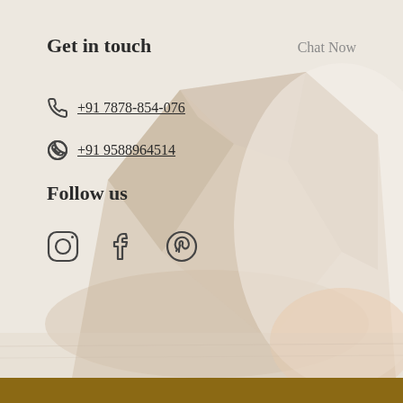Get in touch
Chat Now
+91 7878-854-076
+91 9588964514
Follow us
[Figure (illustration): Crystal/gemstone object photographed on a light wooden surface, used as decorative background]
[Figure (illustration): Social media icons: Instagram, Facebook, Pinterest]